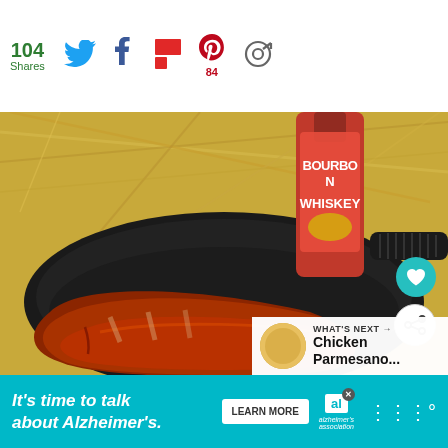104 Shares | Social share icons: Twitter, Facebook, Flipboard, Pinterest (84), Email
[Figure (photo): Bourbon Whiskey bottle standing in hay behind a cast iron skillet containing BBQ ribs with sauce glaze, viewed from above]
WHAT'S NEXT → Chicken Parmesano...
It's time to talk about Alzheimer's. LEARN MORE